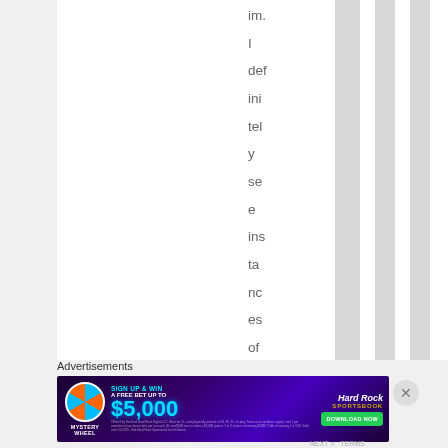im. I definitely see instances of people being
Advertisements
[Figure (photo): Hard Rock Sportsbook advertisement banner: Mystery Wheel promotion, Sign Up & Win A Free Bet Up To $5,000, Download Now button, purple/dark background with neon accents]